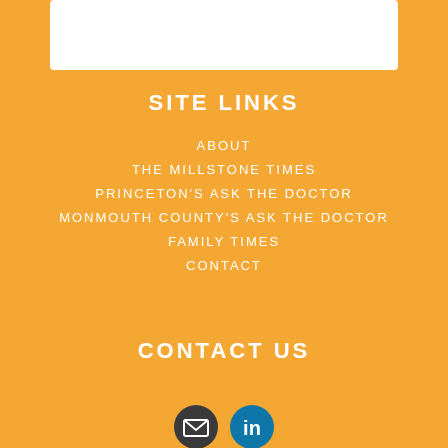[Figure (other): White box/card at the top of the page, partially visible]
SITE LINKS
ABOUT
THE MILLSTONE TIMES
PRINCETON'S ASK THE DOCTOR
MONMOUTH COUNTY'S ASK THE DOCTOR
FAMILY TIMES
CONTACT
CONTACT US
[Figure (other): Social media icons: email (dark circle) and LinkedIn (blue circle)]